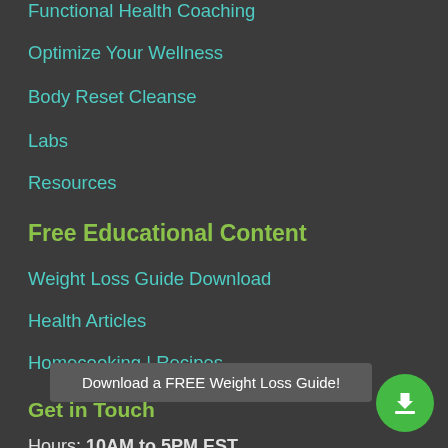Functional Health Coaching
Optimize Your Wellness
Body Reset Cleanse
Labs
Resources
Free Educational Content
Weight Loss Guide Download
Health Articles
Homecooking | Recipes
Get in Touch
Hours: 10AM to 5PM EST
Phone: 646-4[redacted]
Contact Form
Download a FREE Weight Loss Guide!